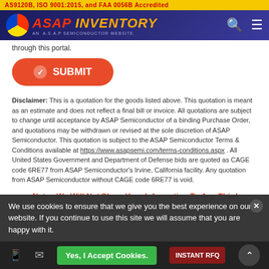AS9120B, ISO 9001:2015, and FAA 0056B Accredited
[Figure (logo): ASAP Inventory logo with circular gauge icon and subtitle AN A.S.A.P SEMICONDUCTOR WEBSITE]
through this portal.
SUBMIT
Disclaimer: This is a quotation for the goods listed above. This quotation is meant as an estimate and does not reflect a final bill or invoice. All quotations are subject to change until acceptance by ASAP Semiconductor of a binding Purchase Order, and quotations may be withdrawn or revised at the sole discretion of ASAP Semiconductor. This quotation is subject to the ASAP Semiconductor Terms & Conditions available at https://www.asapsemi.com/terms-conditions.aspx . All United States Government and Department of Defense bids are quoted as CAGE code 6RE77 from ASAP Semiconductor's Irvine, California facility. Any quotation from ASAP Semiconductor without CAGE code 6RE77 is void.
Note : We Will Not Share Your Information To Any Third Parties
We use cookies to ensure that we give you the best experience on our website. If you continue to use this site we will assume that you are happy with it.
Yes, I Accept Cookies.
INSTANT RFQ